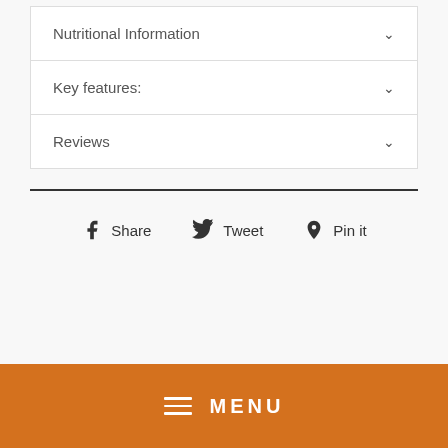Nutritional Information
Key features:
Reviews
Share   Tweet   Pin it
MENU